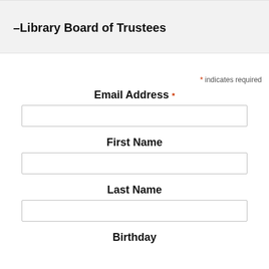–Library Board of Trustees
* indicates required
Email Address *
First Name
Last Name
Birthday